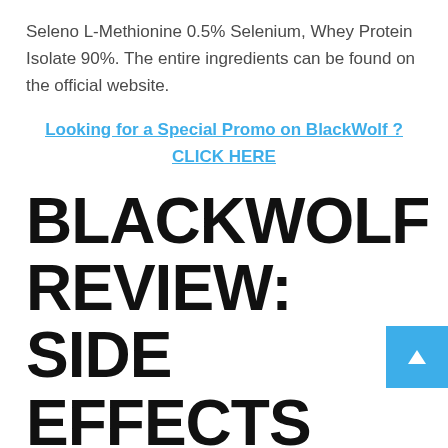Seleno L-Methionine 0.5% Selenium, Whey Protein Isolate 90%. The entire ingredients can be found on the official website.
Looking for a Special Promo on BlackWolf ? CLICK HERE
BLACKWOLF REVIEW: SIDE EFFECTS
Knowing the elements of any product is very necessary earlier than even planning to purch... This ensures that you do now not eat materials that